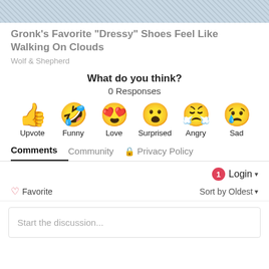[Figure (photo): Gray textured banner image at top of page]
Gronk's Favorite "Dressy" Shoes Feel Like Walking On Clouds
Wolf & Shepherd
What do you think?
0 Responses
[Figure (infographic): Six emoji reaction buttons: Upvote (thumbs up), Funny (laughing face), Love (heart eyes), Surprised (surprised face), Angry (angry crying face), Sad (sad with tear)]
Comments  Community  🔒 Privacy Policy
Login ▾
♡ Favorite
Sort by Oldest ▾
Start the discussion...